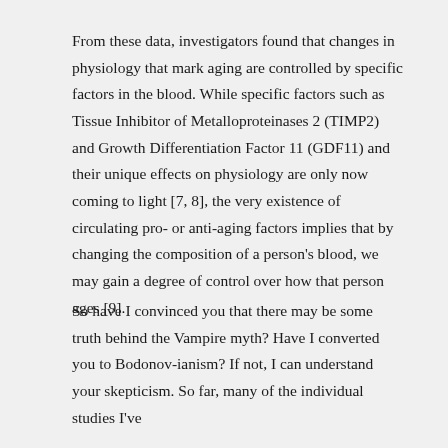From these data, investigators found that changes in physiology that mark aging are controlled by specific factors in the blood. While specific factors such as Tissue Inhibitor of Metalloproteinases 2 (TIMP2) and Growth Differentiation Factor 11 (GDF11) and their unique effects on physiology are only now coming to light [7, 8], the very existence of circulating pro- or anti-aging factors implies that by changing the composition of a person's blood, we may gain a degree of control over how that person ages [9].
So have I convinced you that there may be some truth behind the Vampire myth? Have I converted you to Bodonov-ianism? If not, I can understand your skepticism. So far, many of the individual studies I've